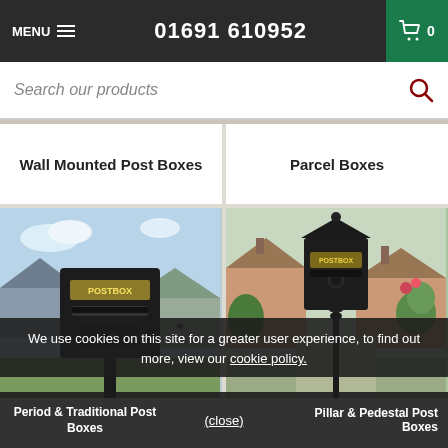MENU  01691 610952  0
Search our products
Wall Mounted Post Boxes
Parcel Boxes
[Figure (photo): Black wall-mounted postbox labeled POSTBOX on a post, with residential buildings and garden in background]
[Figure (photo): Black pedestal post box labeled POSTBOX mounted on ornate pole in a village garden setting]
We use cookies on this site for a greater user experience, to find out more, view our cookie policy.
Period & Traditional Post Boxes
(close)
Pillar & Pedestal Post Boxes